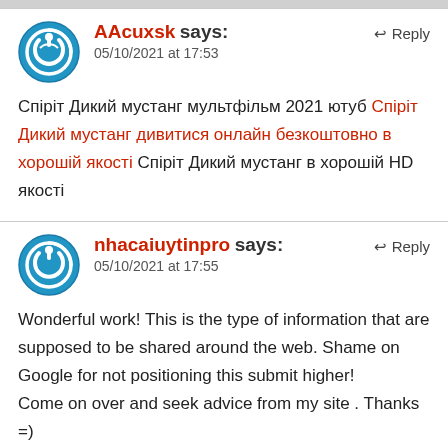AAcuxsk says: 05/10/2021 at 17:53
Спіріт Дикий мустанг мультфільм 2021 ютуб Спіріт Дикий мустанг дивитися онлайн безкоштовно в хорошій якості Спіріт Дикий мустанг в хорошій HD якості
nhacaiuytinpro says: 05/10/2021 at 17:55
Wonderful work! This is the type of information that are supposed to be shared around the web. Shame on Google for not positioning this submit higher! Come on over and seek advice from my site . Thanks =)